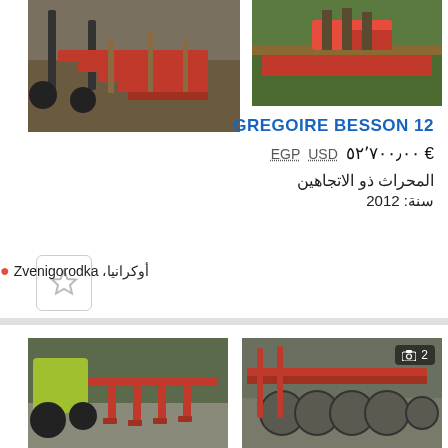[Figure (photo): Red agricultural plow equipment on ground with tires]
[Figure (photo): Red agricultural machinery on green grass field]
GREGOIRE BESSON 12
EGP  USD  € ٥٢٬٧٠٠٫٠٠
المحراث ذو الاتجاهين
سنة: 2012
أوكرانيا، Zvenigorodka
[Figure (photo): Red agricultural cultivator/plow attached to green tractor on gravel]
[Figure (photo): Red disc plow agricultural equipment, photo count badge showing 2]